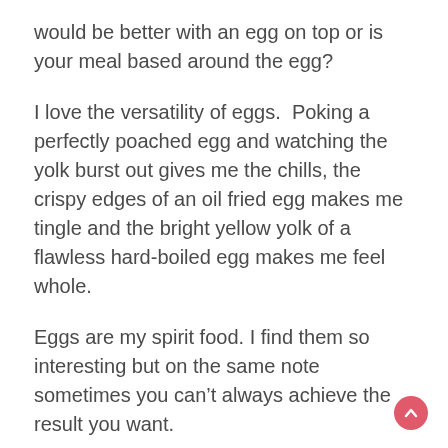would be better with an egg on top or is your meal based around the egg?
I love the versatility of eggs.  Poking a perfectly poached egg and watching the yolk burst out gives me the chills, the crispy edges of an oil fried egg makes me tingle and the bright yellow yolk of a flawless hard-boiled egg makes me feel whole.
Eggs are my spirit food. I find them so interesting but on the same note sometimes you can't always achieve the result you want.
Eggs-ample (okay, you knew an egg pun was coming)…..the jammy egg.  What?  You've